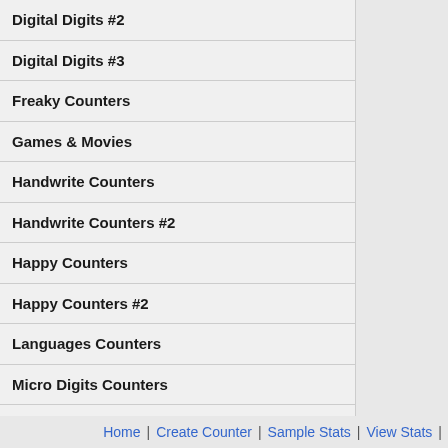Digital Digits #2
Digital Digits #3
Freaky Counters
Games & Movies
Handwrite Counters
Handwrite Counters #2
Happy Counters
Happy Counters #2
Languages Counters
Micro Digits Counters
Modern Counters
Music Counters
Small Digits Counters
Solid Counters
Stealth / Invisible
Link Trackers NEW!
Home | Create Counter | Sample Stats | View Stats |